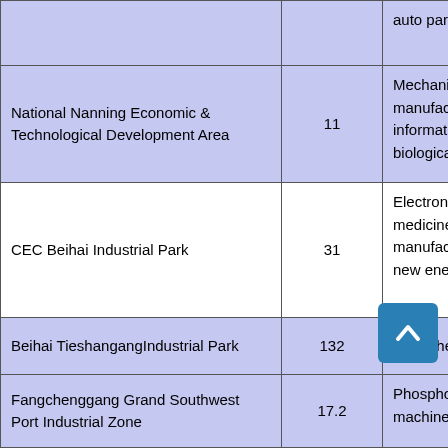| Industrial Park / Zone | Area (km²) | Industries |
| --- | --- | --- |
|  |  | auto parts |
| National Nanning Economic & Technological Development Area | 11 | Mechanical manufacturing, information, biological |
| CEC Beihai Industrial Park | 31 | Electronics, medicine manufacturing, new energy |
| Beihai TieshangangIndustrial Park | 132 | Petrochemical |
| Fangchenggang Grand Southwest Port Industrial Zone | 17.2 | Phosphorus machinery |
| Fangchenggang QishaIndustrial Park | 92.68 | Iron and power |
| China PetrochemicalIndustry Park (Qinzhou) | 35.8 | Petrochemical inorganic chemical |
|  |  | Automobile |